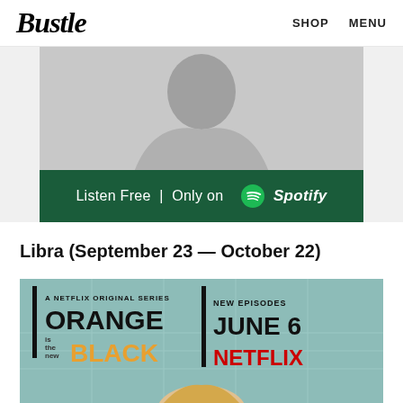Bustle  SHOP  MENU
[Figure (photo): Spotify advertisement banner showing a person (likely a woman in a white top) in black and white, with a dark green bar at the bottom reading 'Listen Free | Only on Spotify' with the Spotify logo]
Libra (September 23 — October 22)
[Figure (photo): Orange is the New Black Netflix promotional poster showing 'A NETFLIX ORIGINAL SERIES | ORANGE is the new BLACK | NEW EPISODES JUNE 6 NETFLIX' with a blonde woman visible at the bottom]